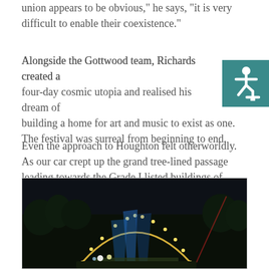union appears to be obvious," he says, "it is very difficult to enable their coexistence."
Alongside the Gottwood team, Richards created a four-day cosmic utopia and realised his dream of building a home for art and music to exist as one. The festival was surreal from beginning to end.
Even the approach to Houghton felt otherworldly. As our car crept up the grand tree-lined passage leading towards the Grade I listed buildings of Houghton Hall, my friends and I questioned whether we had come to the right place. It looked as though we were about to attend a luxury spa retreat, not a common weekend-long music festival.
[Figure (photo): Night festival scene with colorful stage lights, arches of lights illuminating a crowd, and beams of blue and red light against a dark sky with trees in the background.]